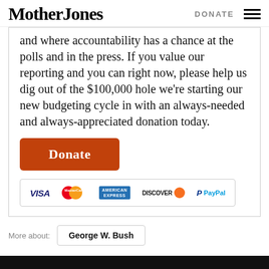Mother Jones  DONATE
and where accountability has a chance at the polls and in the press. If you value our reporting and you can right now, please help us dig out of the $100,000 hole we're starting our new budgeting cycle in with an always-needed and always-appreciated donation today.
[Figure (other): Orange 'Donate' button followed by payment method icons: VISA, MasterCard, American Express, Discover, PayPal]
More about:  George W. Bush